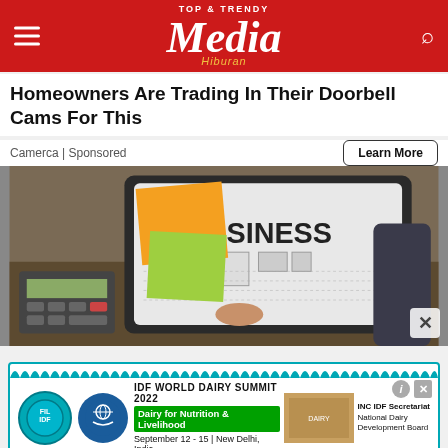[Figure (logo): Media Hiburan Top & Trendy logo on red header bar with hamburger menu and search icon]
Homeowners Are Trading In Their Doorbell Cams For This
Camerca | Sponsored
Learn More
[Figure (photo): Business concept photo showing a tablet with 'BUSINESS' text and business icons, sticky notes, calculator on desk, with X close button]
[Figure (other): Advertisement for IDF World Dairy Summit 2022 - Dairy for Nutrition & Livelihood, September 12-15, New Delhi, India, with INC IDF Secretariat National Dairy Development Board]